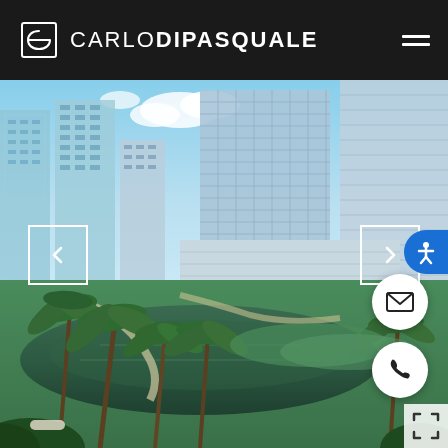CARLO DIPASQUALE
[Figure (photo): Aerial view of Miami Brickell waterfront with tall glass condo towers, green palm trees, a curved waterway with emerald water, and manicured green lawns. Navigation arrows on left and right sides of image.]